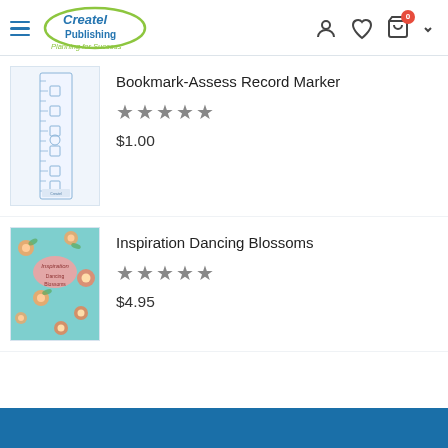Createl Publishing — Planning for Success
[Figure (screenshot): Bookmark-Assess Record Marker product thumbnail — a tall narrow ruler-style bookmark with checkboxes]
Bookmark-Assess Record Marker
★★★★★
$1.00
[Figure (photo): Inspiration Dancing Blossoms product thumbnail — a floral cover with teal background and orange blossoms]
Inspiration Dancing Blossoms
★★★★★
$4.95